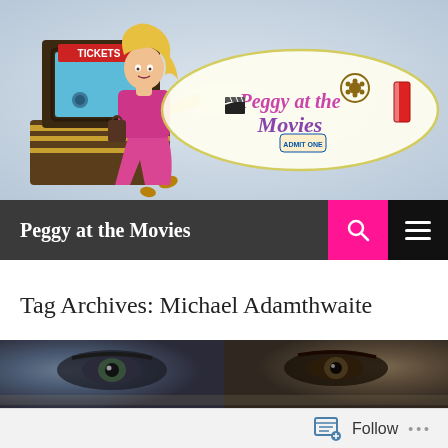[Figure (illustration): Peggy at the Movies header logo featuring a cartoon blonde woman in a pink suit at a ticket booth, with the text 'Peggy at the Movies' in a cloud-like speech bubble with a film reel, clapperboard, and admit one ticket]
Peggy at the Movies
Tag Archives: Michael Adamthwaite
[Figure (photo): Close-up photo of eyes, partially cropped at the bottom of the page — appears to be a movie promotional image]
Follow ...